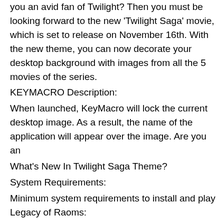of the application will appear over the image. Are you an avid fan of Twilight? Then you must be looking forward to the new 'Twilight Saga' movie, which is set to release on November 16th. With the new theme, you can now decorate your desktop background with images from all the 5 movies of the series.
KEYMACRO Description:
When launched, KeyMacro will lock the current desktop image. As a result, the name of the application will appear over the image. Are you an
What's New In Twilight Saga Theme?
System Requirements:
Minimum system requirements to install and play Legacy of Raoms:
Requires a 3.0 GHz CPU
AMD Radeon 6850 / Nvidia GTX 470
RAM: 2GB
HDD Space: 8GB
Preferably AMD R9-260, R9-270 or R9-285